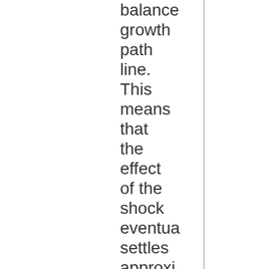balance growth path line. This means that the effect of the shock eventually settles approximately 55 years after. What